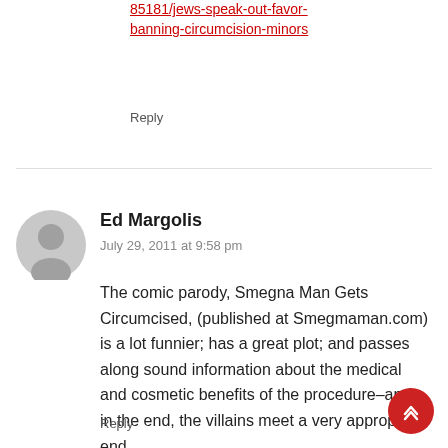85181/jews-speak-out-favor-banning-circumcision-minors
Reply
[Figure (other): Grey avatar/profile placeholder icon for user Ed Margolis]
Ed Margolis
July 29, 2011 at 9:58 pm
The comic parody, Smegna Man Gets Circumcised, (published at Smegmaman.com) is a lot funnier; has a great plot; and passes along sound information about the medical and cosmetic benefits of the procedure–and, in the end, the villains meet a very appropriate end.
Ed Margolis
Reply